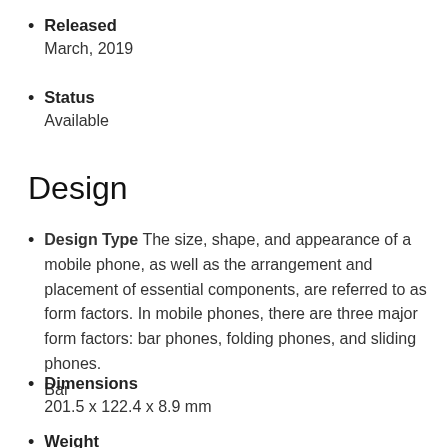Released
March, 2019
Status
Available
Design
Design Type The size, shape, and appearance of a mobile phone, as well as the arrangement and placement of essential components, are referred to as form factors. In mobile phones, there are three major form factors: bar phones, folding phones, and sliding phones.
Bar
Dimensions
201.5 x 122.4 x 8.9 mm
Weight